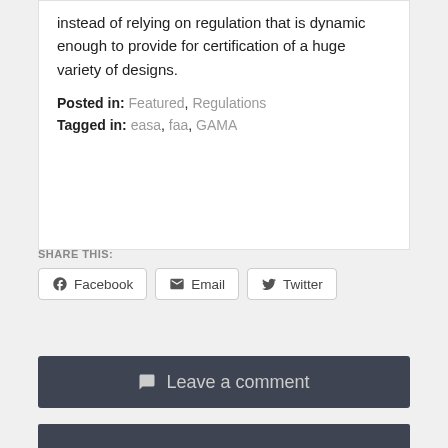instead of relying on regulation that is dynamic enough to provide for certification of a huge variety of designs.
Posted in: Featured, Regulations
Tagged in: easa, faa, GAMA
SHARE THIS:
[Figure (other): Social share buttons: Facebook, Email, Twitter]
[Figure (other): Leave a comment button bar (dark background)]
[Figure (other): Dark image strip at bottom of page]